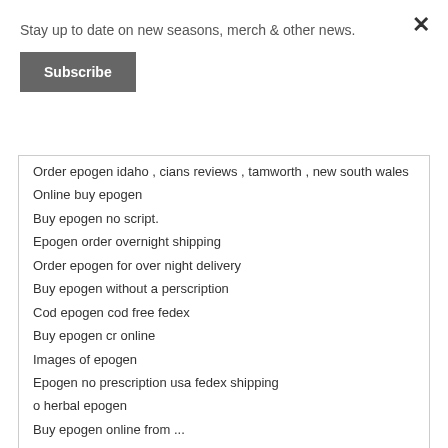Stay up to date on new seasons, merch & other news.
Subscribe
×
Order epogen idaho , cians reviews , tamworth , new south wales
Online buy epogen
Buy epogen no script.
Epogen order overnight shipping
Order epogen for over night delivery
Buy epogen without a perscription
Cod epogen cod free fedex
Buy epogen cr online
Images of epogen
Epogen no prescription usa fedex shipping
o herbal epogen
Buy epogen online from ...
| Author | Posts |
| --- | --- |
Viewing 1 post (of 1 total)